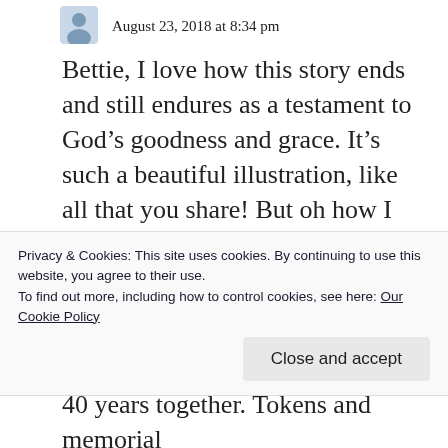August 23, 2018 at 8:34 pm
Bettie, I love how this story ends and still endures as a testament to God’s goodness and grace. It’s such a beautiful illustration, like all that you share! But oh how I was taken back to the many, many times when my heart sighed like this: “What if I hurt my husband again tomorrow, or the next day? When would I ever get this loving thing right?” It’s been
Privacy & Cookies: This site uses cookies. By continuing to use this website, you agree to their use.
To find out more, including how to control cookies, see here: Our Cookie Policy
40 years together. Tokens and memorial